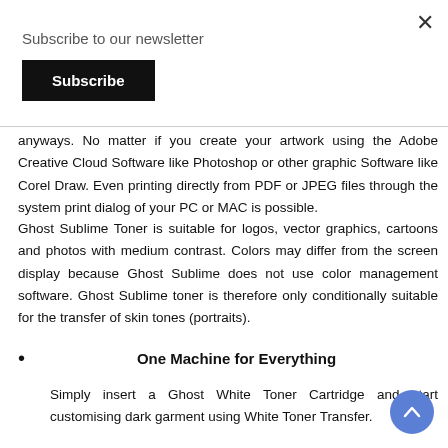Subscribe to our newsletter
Subscribe
anyways. No matter if you create your artwork using the Adobe Creative Cloud Software like Photoshop or other graphic Software like Corel Draw. Even printing directly from PDF or JPEG files through the system print dialog of your PC or MAC is possible.
Ghost Sublime Toner is suitable for logos, vector graphics, cartoons and photos with medium contrast. Colors may differ from the screen display because Ghost Sublime does not use color management software. Ghost Sublime toner is therefore only conditionally suitable for the transfer of skin tones (portraits).
One Machine for Everything
Simply insert a Ghost White Toner Cartridge and start customising dark garment using White Toner Transfer.